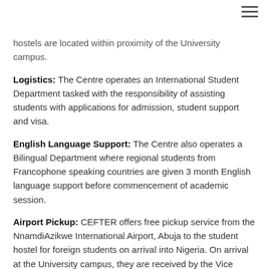hostels are located within proximity of the University campus.
Logistics: The Centre operates an International Student Department tasked with the responsibility of assisting students with applications for admission, student support and visa.
English Language Support: The Centre also operates a Bilingual Department where regional students from Francophone speaking countries are given 3 month English language support before commencement of academic session.
Airport Pickup: CEFTER offers free pickup service from the NnamdiAzikwe International Airport, Abuja to the student hostel for foreign students on arrival into Nigeria. On arrival at the University campus, they are received by the Vice Chancellor of the University.
E-Library Training: The Centre offers free mandatory training for new students on modern learning and research activities such as referencing, Microsoft PowerPoint presentation, endnote etc.